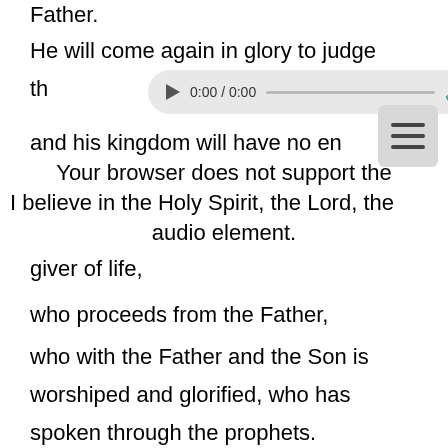Father.
He will come again in glory to judge the
[Figure (screenshot): Audio player UI overlay showing 0:00 / 0:00 time, progress bar, volume icon, and menu dots button]
and his kingdom will have no end.
Your browser does not support the audio element.
I believe in the Holy Spirit, the Lord, the giver of life,
who proceeds from the Father,
who with the Father and the Son is worshiped and glorified, who has spoken through the prophets.
I believe in one holy catholic and